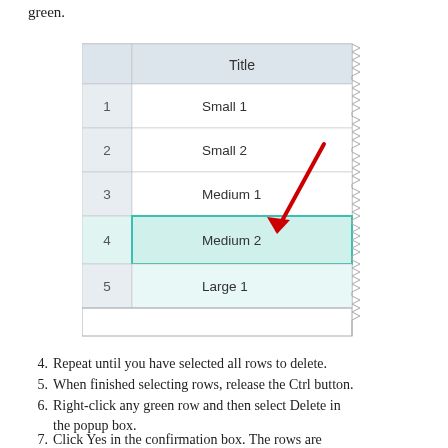green.
[Figure (screenshot): A table screenshot showing rows numbered 1-5 with titles: Small 1, Small 2, Medium 1, Medium 2 (selected/highlighted in teal/green with border), Large 1. A red arrow points from upper right down to the Medium 2 selected row. The table has a zigzag/torn right edge effect.]
4. Repeat until you have selected all rows to delete.
5. When finished selecting rows, release the Ctrl button.
6. Right-click any green row and then select Delete in the popup box.
7. Click Yes in the confirmation box. The rows are